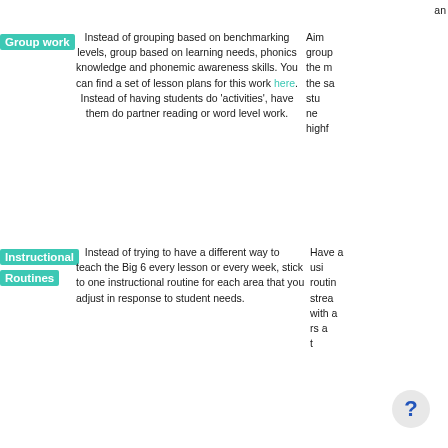an
Group work — Instead of grouping based on benchmarking levels, group based on learning needs, phonics knowledge and phonemic awareness skills. You can find a set of lesson plans for this work here. Instead of having students do 'activities', have them do partner reading or word level work.
Aim group the m the sa stu ne highf
Instructional Routines — Instead of trying to have a different way to teach the Big 6 every lesson or every week, stick to one instructional routine for each area that you adjust in response to student needs.
Have a usi routin strea with a rs a t